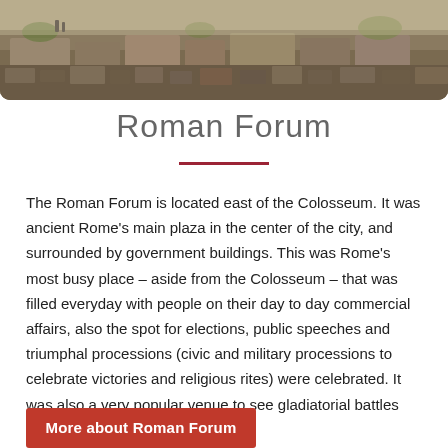[Figure (photo): Aerial or wide-angle photograph of ancient Roman Forum ruins with rocky structures and sparse vegetation at the top of the page]
Roman Forum
The Roman Forum is located east of the Colosseum. It was ancient Rome's main plaza in the center of the city, and surrounded by government buildings. This was Rome's most busy place – aside from the Colosseum – that was filled everyday with people on their day to day commercial affairs, also the spot for elections, public speeches and triumphal processions (civic and military processions to celebrate victories and religious rites) were celebrated. It was also a very popular venue to see gladiatorial battles up-close, front and center.
More about Roman Forum